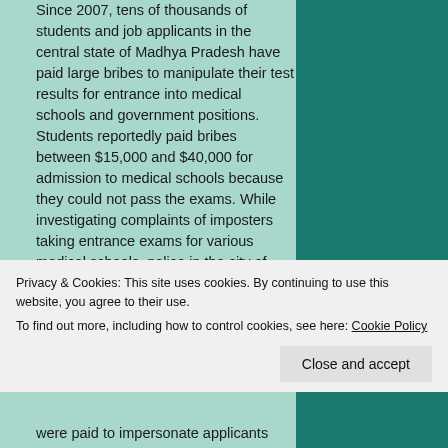Since 2007, tens of thousands of students and job applicants in the central state of Madhya Pradesh have paid large bribes to manipulate their test results for entrance into medical schools and government positions. Students reportedly paid bribes between $15,000 and $40,000 for admission to medical schools because they could not pass the exams. While investigating complaints of imposters taking entrance exams for various medical schools, police in the city of Indore discovered multiple tests being rigged including recruitment exams for food inspectors, forest rangers, medical officers, police officers, and teachers.
Privacy & Cookies: This site uses cookies. By continuing to use this website, you agree to their use.
To find out more, including how to control cookies, see here: Cookie Policy
were paid to impersonate applicants